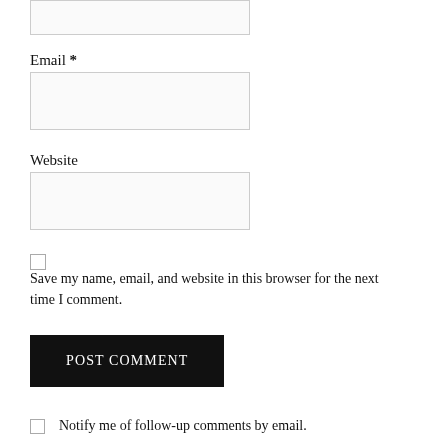[Figure (other): Empty text input field (top, partially visible)]
Email *
[Figure (other): Email input field, empty, with light border]
Website
[Figure (other): Website input field, empty, with light border]
[Figure (other): Unchecked checkbox]
Save my name, email, and website in this browser for the next time I comment.
[Figure (other): POST COMMENT button, black background, white text]
Notify me of follow-up comments by email.